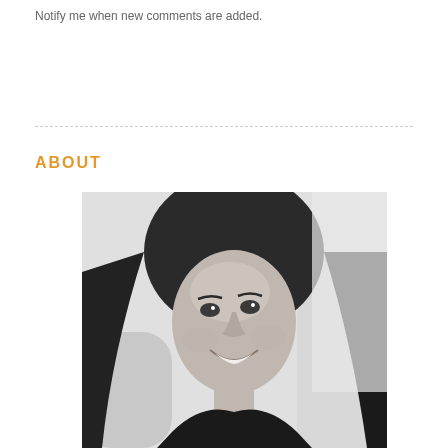Notify me when new comments are added.
ABOUT
[Figure (photo): Black and white portrait photo of a smiling woman with long dark hair, looking upward, seated on what appears to be a tufted sofa or chair.]